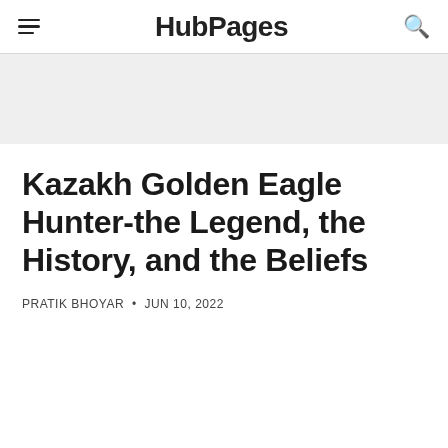HubPages
Kazakh Golden Eagle Hunter-the Legend, the History, and the Beliefs
PRATIK BHOYAR • JUN 10, 2022